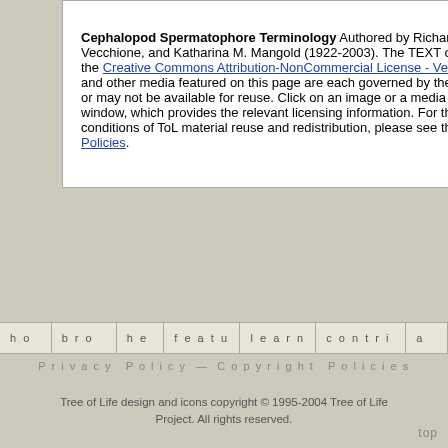Cephalopod Spermatophore Terminology Authored by Richard E. Young, Michael Vecchione, and Katharina M. Mangold (1922-2003). The TEXT of this page is licensed under the Creative Commons Attribution-NonCommercial License - Version 3.0. Note that images and other media featured on this page are each governed by their own license, and they may or may not be available for reuse. Click on an image or a media link to access the media data window, which provides the relevant licensing information. For the general terms and conditions of ToL material reuse and redistribution, please see the Tree of Life Copyright Policies.
home   browse   help   features   learning   contribute   abo...
Privacy Policy — Copyright Policies
Tree of Life design and icons copyright © 1995-2004 Tree of Life Project. All rights reserved.